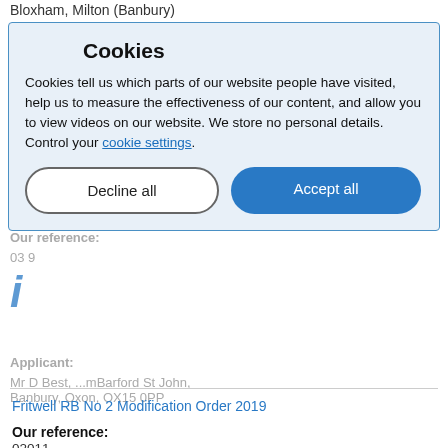Bloxham, Milton (Banbury)
Cropredy: A361, Fire Station Rd to Molway Lodge, Spring Lane...
Our reference:
03...9
Applicant:
Mr D Best, ...mBarford St John, Banbury, Oxon, OX15 0PP
Parish: Cropredy
[Figure (screenshot): Cookie consent modal overlay with title 'Cookies', description text, decline and accept buttons]
Fritwell RB No 2 Modification Order 2019
Our reference:
02011
Applicant name(s):
Mr C Blomfield